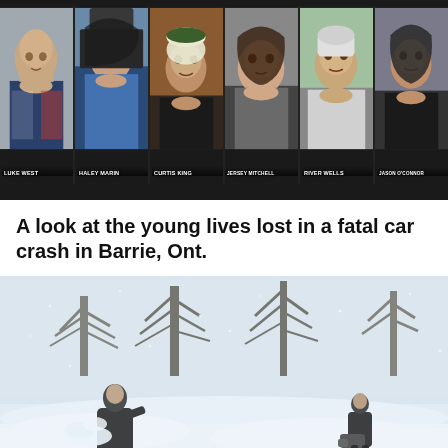[Figure (photo): Six portrait photos of young people in a dark-background collage. Labels below each face read: LUKE WEST, HALEY MARIN, CURTIS KING, JERSEY MITCHELL, RIVER WELLS, JASON O'CONNOR]
A look at the young lives lost in a fatal car crash in Barrie, Ont.
[Figure (photo): A snow scene showing two people shoveling or working in deep snow with bare trees in the background, heavy snowstorm conditions.]